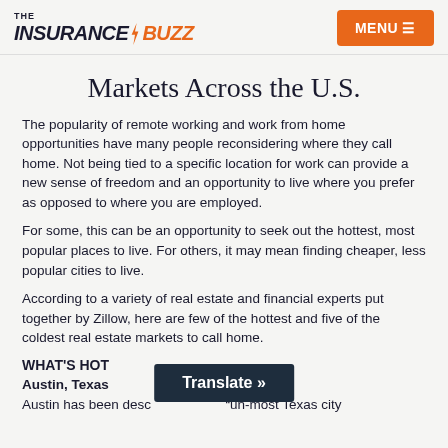THE INSURANCEBUZZ | MENU
Markets Across the U.S.
The popularity of remote working and work from home opportunities have many people reconsidering where they call home. Not being tied to a specific location for work can provide a new sense of freedom and an opportunity to live where you prefer as opposed to where you are employed.
For some, this can be an opportunity to seek out the hottest, most popular places to live. For others, it may mean finding cheaper, less popular cities to live.
According to a variety of real estate and financial experts put together by Zillow, here are few of the hottest and five of the coldest real estate markets to call home.
WHAT'S HOT
Austin, Texas
Austin has been desc… “un-most Texas city